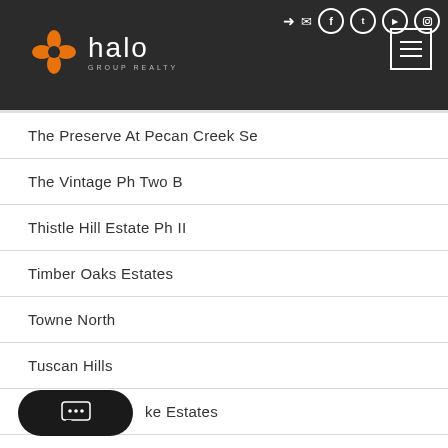Halo Group Realty - navigation header with logo and social icons
The Preserve At Pecan Creek Se
The Vintage Ph Two B
Thistle Hill Estate Ph II
Timber Oaks Estates
Towne North
Tuscan Hills
...ke Estates